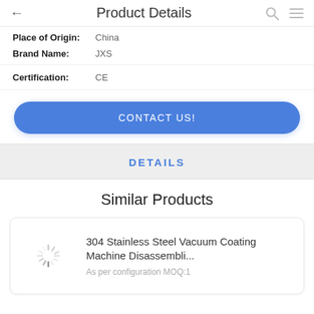Product Details
Place of Origin: China
Brand Name: JXS
Certification: CE
CONTACT US!
DETAILS
Similar Products
304 Stainless Steel Vacuum Coating Machine Disassembli...
As per configuration MOQ:1